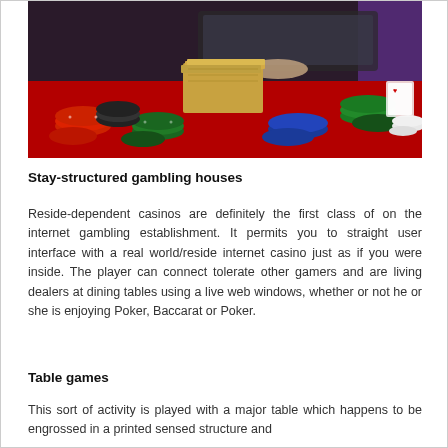[Figure (photo): Casino table with poker chips in multiple colors (red, green, blue, black/white), a stack of dollar bills, and a person's hands on a laptop in the background. The table surface is red felt.]
Stay-structured gambling houses
Reside-dependent casinos are definitely the first class of on the internet gambling establishment. It permits you to straight user interface with a real world/reside internet casino just as if you were inside. The player can connect tolerate other gamers and are living dealers at dining tables using a live web windows, whether or not he or she is enjoying Poker, Baccarat or Poker.
Table games
This sort of activity is played with a major table which happens to be engrossed in a printed sensed structure and